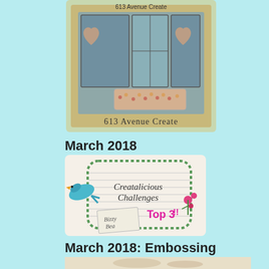[Figure (photo): Badge image from '613 Avenue Create' showing a craft window box stamp with hearts and flowers, on a gold/tan background]
613 Avenue Create
March 2018
[Figure (illustration): Creatalicious Challenges Top 3 badge with a blue bird, decorative green dotted frame, lined paper background, and pink 'Top 3!!' text. A tag reads 'Bizzy Bea'.]
March 2018: Embossing
[Figure (photo): Partial view of an embossed craft card with floral/wreath design, red ribbon, on a cream/beige background]